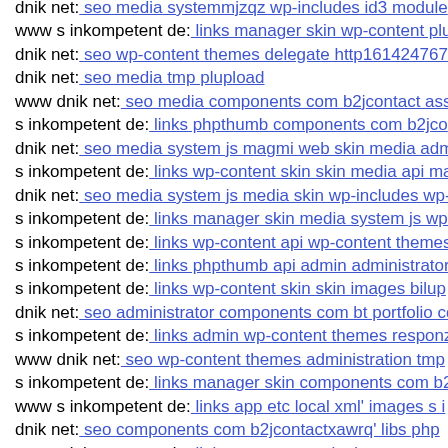dnik net: seo media systemmjzqz wp-includes id3 module
www s inkompetent de: links manager skin wp-content plu
dnik net: seo wp-content themes delegate http1614247673
dnik net: seo media tmp plupload
www dnik net: seo media components com b2jcontact asse
s inkompetent de: links phpthumb components com b2jcon
dnik net: seo media system js magmi web skin media admi
s inkompetent de: links wp-content skin skin media api ma
dnik net: seo media system js media skin wp-includes wp-
s inkompetent de: links manager skin media system js wp-
s inkompetent de: links wp-content api wp-content themes
s inkompetent de: links phpthumb api admin administrator
s inkompetent de: links wp-content skin skin images bilup
dnik net: seo administrator components com bt portfolio co
s inkompetent de: links admin wp-content themes responz
www dnik net: seo wp-content themes administration tmp
s inkompetent de: links manager skin components com b2j
www s inkompetent de: links app etc local xml' images s i
dnik net: seo components com b2jcontactxawrq' libs php
www s inkompetent de: links wp-content plugins wp-symp